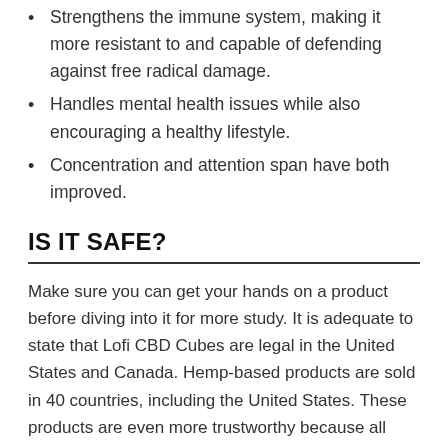Strengthens the immune system, making it more resistant to and capable of defending against free radical damage.
Handles mental health issues while also encouraging a healthy lifestyle.
Concentration and attention span have both improved.
IS IT SAFE?
Make sure you can get your hands on a product before diving into it for more study. It is adequate to state that Lofi CBD Cubes are legal in the United States and Canada. Hemp-based products are sold in 40 countries, including the United States. These products are even more trustworthy because all